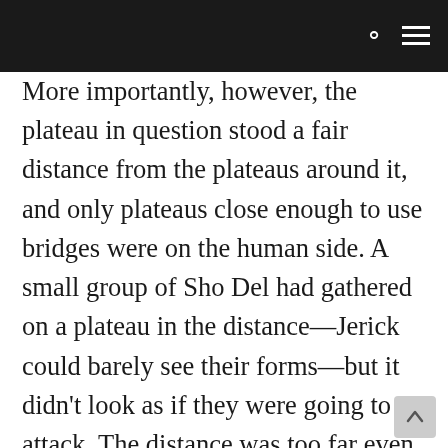More importantly, however, the plateau in question stood a fair distance from the plateaus around it, and only plateaus close enough to use bridges were on the human side. A small group of Sho Del had gathered on a plateau in the distance—Jerick could barely see their forms—but it didn't look as if they were going to attack. The distance was too far even for a Sho Del to jump, and the only other option open to the demons—a method by which they dropped long poles across the chasm and climbed across one at a time—wouldn't work when the humans were